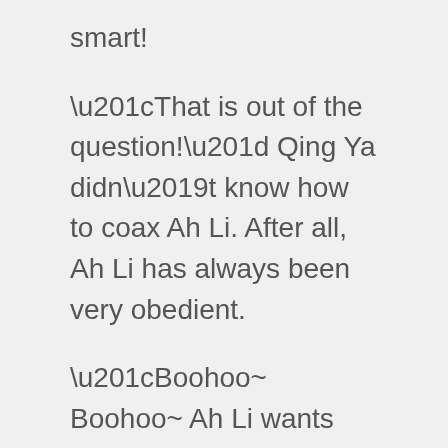smart!
“That is out of the question!” Qing Ya didn’t know how to coax Ah Li. After all, Ah Li has always been very obedient.
“Boohoo~ Boohoo~ Ah Li wants daddy~” Donghuang Li straightforwardly unleashed her ultimate attack, causing Qing Ya to become at a complete loss on what to do.
Not knowing what to do, Qing Ya looked towards her sister for help.
“Don’t look at me.” Qing Yutong said as she shrugged her shoulders.